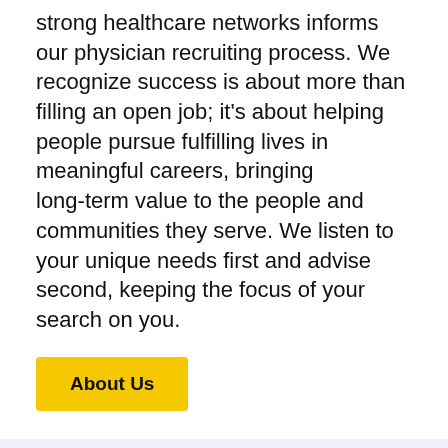strong healthcare networks informs our physician recruiting process. We recognize success is about more than filling an open job; it's about helping people pursue fulfilling lives in meaningful careers, bringing long-term value to the people and communities they serve. We listen to your unique needs first and advise second, keeping the focus of your search on you.
About Us
Testimonials
The best part of our job is building